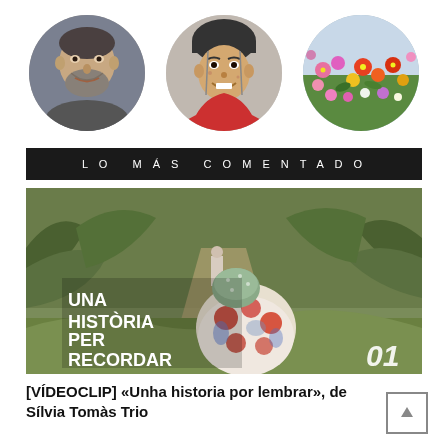[Figure (photo): Three circular avatar images: an older bearded man, a young person smiling, and colorful tulip flowers]
LO MÁS COMENTADO
[Figure (photo): Main article image showing a person with a floral patterned jacket viewed from behind walking on a dirt path, with text overlay 'UNA HISTÒRIA PER RECORDAR' and number '01']
[VÍDEOCLIP] «Unha historia por lembrar», de Sílvia Tomàs Trio